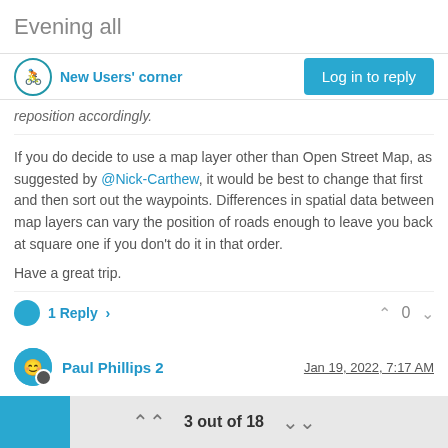Evening all
New Users' corner | Log in to reply
reposition accordingly.
If you do decide to use a map layer other than Open Street Map, as suggested by @Nick-Carthew, it would be best to change that first and then sort out the waypoints. Differences in spatial data between map layers can vary the position of roads enough to leave you back at square one if you don't do it in that order.
Have a great trip.
1 Reply > 0
Paul Phillips 2 | Jan 19, 2022, 7:17 AM
@hans-van-de-ven-mra-master Thanks Hans will definitely take a look at those thanks for the tip
3 out of 18